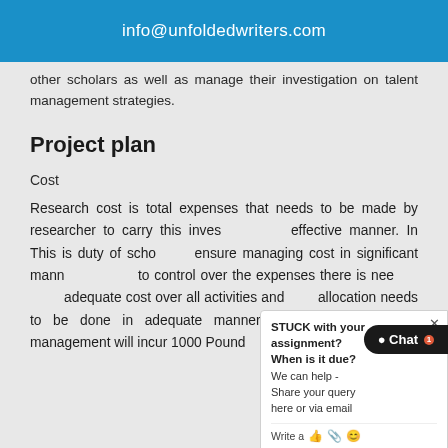info@unfoldedwriters.com
other scholars as well as manage their investigation on talent management strategies.
Project plan
Cost
Research cost is total expenses that needs to be made by researcher to carry this investigation in effective manner. In This is duty of scholar to ensure managing cost in significant manner. In order to control over the expenses there is need to have adequate cost over all activities and cost allocation needs to be done in adequate manner. This study on talent management will incur 1000 Pound